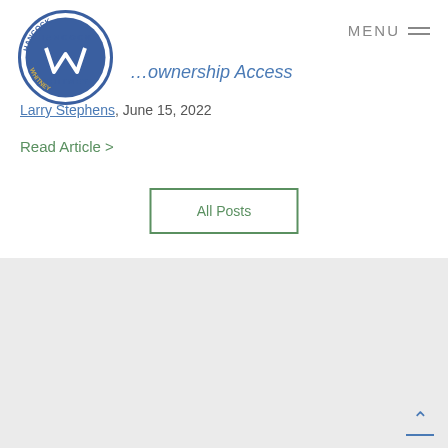[Figure (logo): Hancock Whitney circular logo with W initial in blue and white]
MENU ≡
…ownership Access
Larry Stephens, June 15, 2022
Read Article >
All Posts
Sign up to receive regular updates from our team of financial experts.
Email*